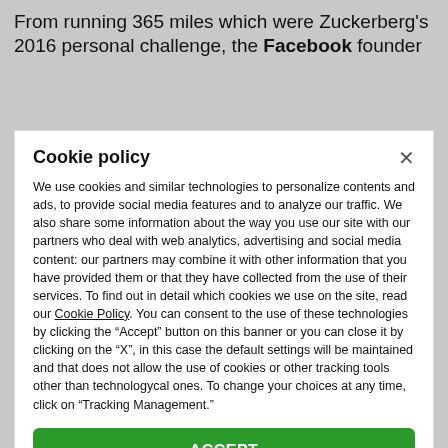From running 365 miles which were Zuckerberg's 2016 personal challenge, the Facebook founder
Cookie policy
We use cookies and similar technologies to personalize contents and ads, to provide social media features and to analyze our traffic. We also share some information about the way you use our site with our partners who deal with web analytics, advertising and social media content: our partners may combine it with other information that you have provided them or that they have collected from the use of their services. To find out in detail which cookies we use on the site, read our Cookie Policy. You can consent to the use of these technologies by clicking the "Accept" button on this banner or you can close it by clicking on the "X", in this case the default settings will be maintained and that does not allow the use of cookies or other tracking tools other than technologycal ones. To change your choices at any time, click on “Tracking Management.”
ACCEPT
TRACKERS MANAGEMENT
Show vendors | Show purposes